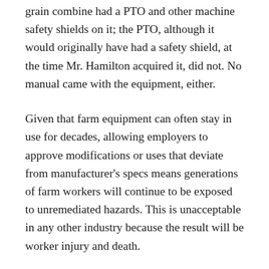grain combine had a PTO and other machine safety shields on it; the PTO, although it would originally have had a safety shield, at the time Mr. Hamilton acquired it, did not. No manual came with the equipment, either.
Given that farm equipment can often stay in use for decades, allowing employers to approve modifications or uses that deviate from manufacturer's specs means generations of farm workers will continue to be exposed to unremediated hazards. This is unacceptable in any other industry because the result will be worker injury and death.
Not only do Alberta's new OHS rules allow this practice to continue, but they also allow unsafe